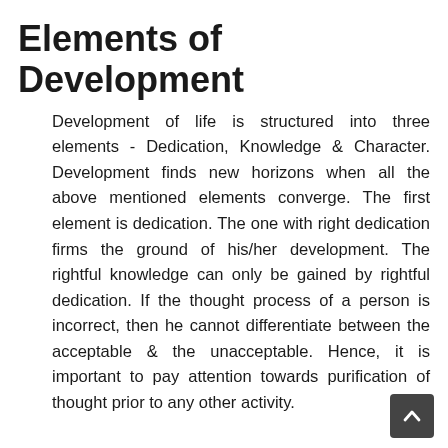Elements of Development
Development of life is structured into three elements - Dedication, Knowledge & Character. Development finds new horizons when all the above mentioned elements converge. The first element is dedication. The one with right dedication firms the ground of his/her development. The rightful knowledge can only be gained by rightful dedication. If the thought process of a person is incorrect, then he cannot differentiate between the acceptable & the unacceptable. Hence, it is important to pay attention towards purification of thought prior to any other activity.
Between the banks of right knowledge & right dedication flows the beautiful river of conduct that enriches life and lays the foundation stone of a healthy life. It is important for all students to understand the elements in detail & imbibe them into their lives paving